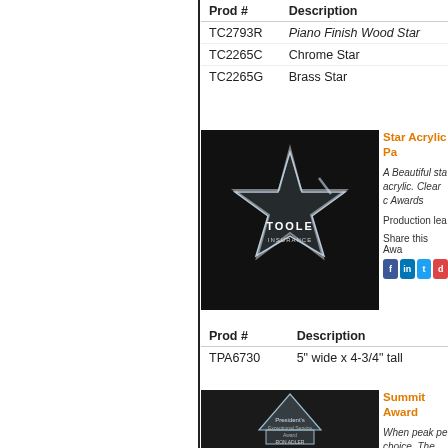| Prod # | Description |
| --- | --- |
| TC2793R | Piano Finish Wood Star |
| TC2265C | Chrome Star |
| TC2265G | Brass Star |
[Figure (photo): Star-shaped clear acrylic award with Toole Insurance logo engraved, photographed on dark background]
Star Acrylic Pa...
A Beautiful sta... acrylic. Clear c... Awards
Production lea...
Share this Awa...
| Prod # | Description |
| --- | --- |
| TPA6730 | 5" wide x 4-3/4" tall |
[Figure (photo): Summit crystal award with engraving, photographed on dark background]
Summit Award...
When peak pe... choice. The bri... Executive Gift...
Production lea...